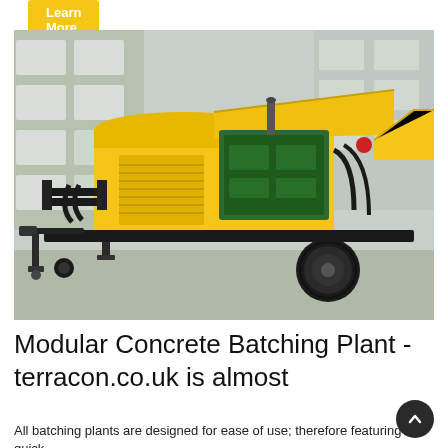Learn More
[Figure (photo): A yellow mobile concrete pump mounted on a trailer with a green diesel engine visible inside the open hood, parked in an industrial yard.]
Modular Concrete Batching Plant - terracon.co.uk is almost
All batching plants are designed for ease of use; therefore featuring quick